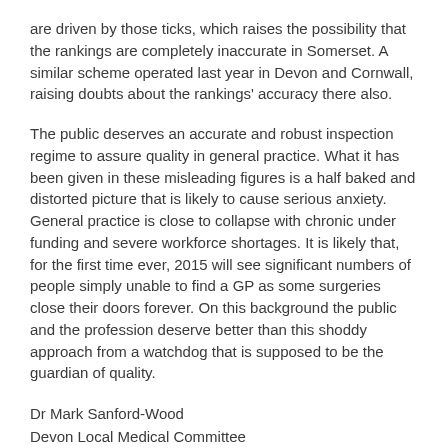are driven by those ticks, which raises the possibility that the rankings are completely inaccurate in Somerset. A similar scheme operated last year in Devon and Cornwall, raising doubts about the rankings' accuracy there also.
The public deserves an accurate and robust inspection regime to assure quality in general practice. What it has been given in these misleading figures is a half baked and distorted picture that is likely to cause serious anxiety. General practice is close to collapse with chronic under funding and severe workforce shortages. It is likely that, for the first time ever, 2015 will see significant numbers of people simply unable to find a GP as some surgeries close their doors forever. On this background the public and the profession deserve better than this shoddy approach from a watchdog that is supposed to be the guardian of quality.
Dr Mark Sanford-Wood
Devon Local Medical Committee
20th November 2014